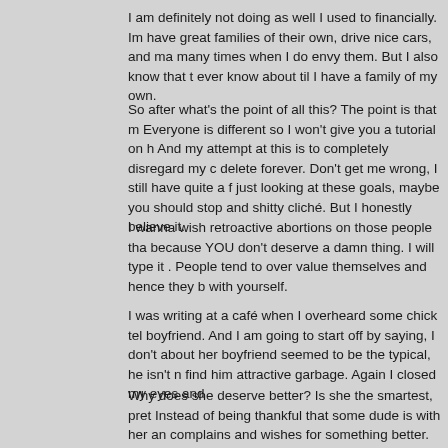I am definitely not doing as well I used to financially. Im have great families of their own, drive nice cars, and ma many times when I do envy them. But I also know that t ever know about til I have a family of my own.
So after what's the point of all this? The point is that m Everyone is different so I won't give you a tutorial on h And my attempt at this is to completely disregard my c delete forever. Don't get me wrong, I still have quite a f just looking at these goals, maybe you should stop and shitty cliché. But I honestly believe it.
I wanna wish retroactive abortions on those people tha because YOU don't deserve a damn thing. I will type it . People tend to over value themselves and hence they b with yourself.
I was writing at a café when I overheard some chick tel boyfriend. And I am going to start off by saying, I don't about her boyfriend seemed to be the typical, he isn't n find him attractive garbage. Again I closed my eyes and
Why does she deserve better? Is she the smartest, pret Instead of being thankful that some dude is with her an complains and wishes for something better. She's like a because you don't deserve shit you dumb cuntasaurus.
As Einstein said, its insane to do the same shit over and the majority of my life. I was one insane dumbass. So it